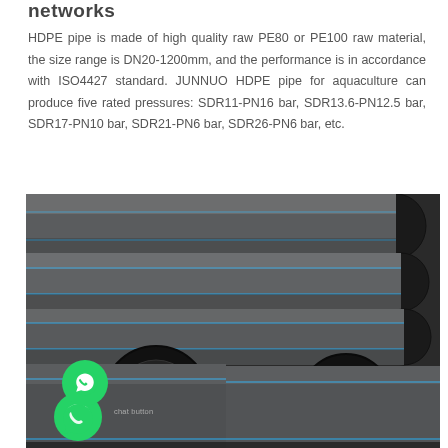networks
HDPE pipe is made of high quality raw PE80 or PE100 raw material, the size range is DN20-1200mm, and the performance is in accordance with ISO4427 standard. JUNNUO HDPE pipe for aquaculture can produce five rated pressures: SDR11-PN16 bar, SDR13.6-PN12.5 bar, SDR17-PN10 bar, SDR21-PN6 bar, SDR26-PN6 bar, etc.
[Figure (photo): Stack of dark grey/black HDPE pipes with blue longitudinal stripes, viewed from the side showing circular ends, bundled together on what appears to be a warehouse or outdoor setting. A green WhatsApp chat button is visible in the lower left corner of the image.]